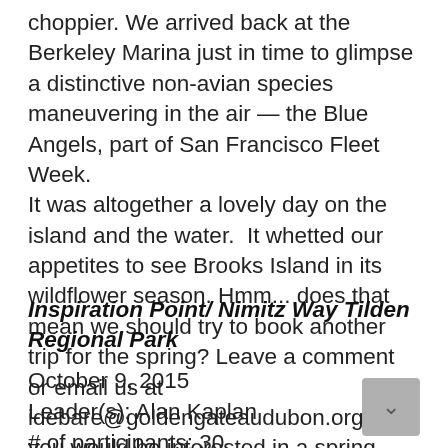choppier. We arrived back at the Berkeley Marina just in time to glimpse a distinctive non-avian species maneuvering in the air — the Blue Angels, part of San Francisco Fleet Week. It was altogether a lovely day on the island and the water.  It whetted our appetites to see Brooks Island in its wildflower season. Hmm... does that mean we should try to book another trip for the spring? Leave a comment or email us at idebare@goldengateaudubon.org if you would be interested in a spring Brooks Island trip.
Inspiration Point/ Nimitz Way Tilden Regional Park
October 9, 2015
Leader(s): Alan Kaplan
# of participants: 30
# of species: 3…